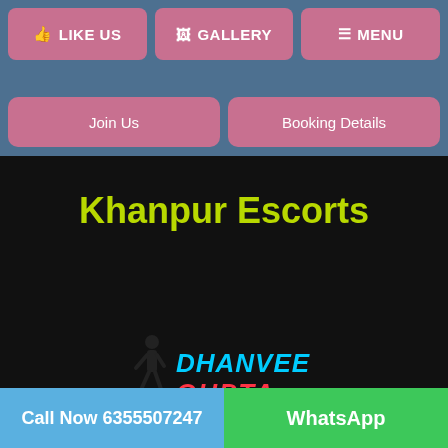LIKE US | GALLERY | MENU
Join Us | Booking Details
Khanpur Escorts
[Figure (logo): Logo showing a silhouette figure walking beside text 'DHANVEE GUPTA' in bold 3D-style cyan and red lettering]
Call Now 6355507247 | WhatsApp